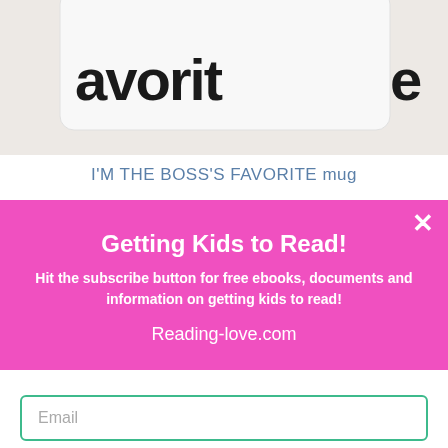[Figure (photo): Partial view of a white mug on a white fabric background, showing text that begins with 'avorI...' (cropped at top)]
I'M THE BOSS'S FAVORITE mug
by HappyHomeLife
Getting Kids to Read!
Hit the subscribe button for free ebooks, documents and information on getting kids to read!
Reading-love.com
Email
SUBSCRIBE